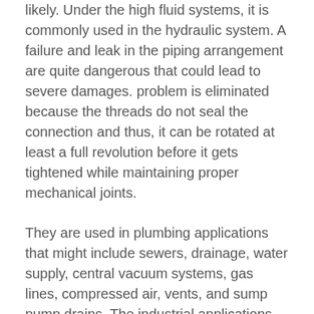likely. Under the high fluid systems, it is commonly used in the hydraulic system. A failure and leak in the piping arrangement are quite dangerous that could lead to severe damages. problem is eliminated because the threads do not seal the connection and thus, it can be rotated at least a full revolution before it gets tightened while maintaining proper mechanical joints.
They are used in plumbing applications that might include sewers, drainage, water supply, central vacuum systems, gas lines, compressed air, vents, and sump pump drains. The industrial applications are found in chemical, cryogenic plants, and more. Get in touch with us today with your requirement.